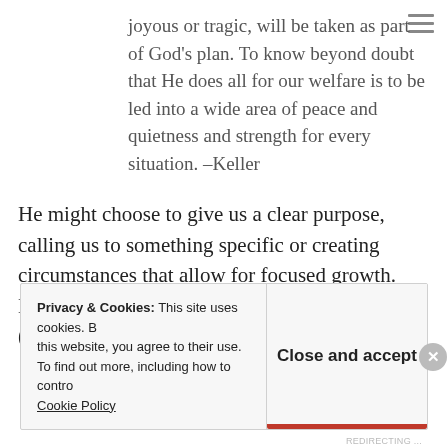joyous or tragic, will be taken as part of God's plan. To know beyond doubt that He does all for our welfare is to be led into a wide area of peace and quietness and strength for every situation. –Keller
He might choose to give us a clear purpose, calling us to something specific or creating circumstances that allow for focused growth. But even if He doesn't, He is a good shepherd (John 10). As I find rest in who He is, I am less
Privacy & Cookies: This site uses cookies. By continuing to use this website, you agree to their use. To find out more, including how to control cookies, see here: Cookie Policy
Close and accept